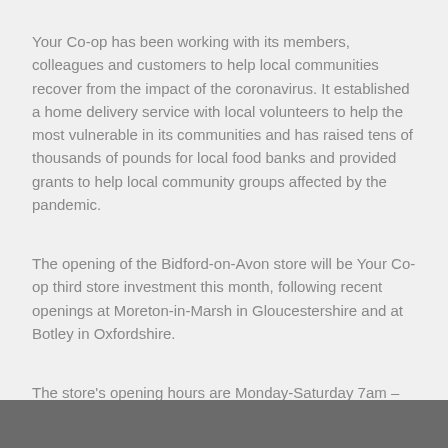Your Co-op has been working with its members, colleagues and customers to help local communities recover from the impact of the coronavirus. It established a home delivery service with local volunteers to help the most vulnerable in its communities and has raised tens of thousands of pounds for local food banks and provided grants to help local community groups affected by the pandemic.
The opening of the Bidford-on-Avon store will be Your Co-op third store investment this month, following recent openings at Moreton-in-Marsh in Gloucestershire and at Botley in Oxfordshire.
The store's opening hours are Monday-Saturday 7am – 10pm and Sunday 10am – 4pm.